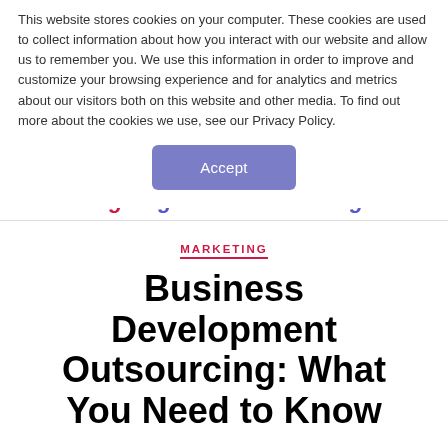This website stores cookies on your computer. These cookies are used to collect information about how you interact with our website and allow us to remember you. We use this information in order to improve and customize your browsing experience and for analytics and metrics about our visitors both on this website and other media. To find out more about the cookies we use, see our Privacy Policy.
[Figure (other): Accept button - rounded rectangle button with purple/blue background and white text reading 'Accept']
Tag: Digital B2B Marketing
MARKETING
Business Development Outsourcing: What You Need to Know
By Dyah Larasati   May 10, 2021